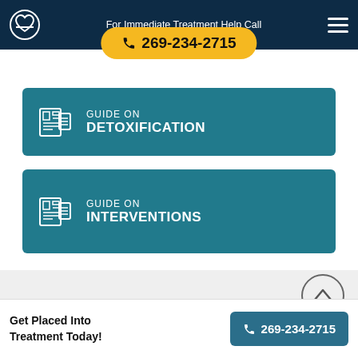For Immediate Treatment Help Call 269-234-2715
GUIDE ON DETOXIFICATION
GUIDE ON INTERVENTIONS
Get Placed Into Treatment Today! 269-234-2715